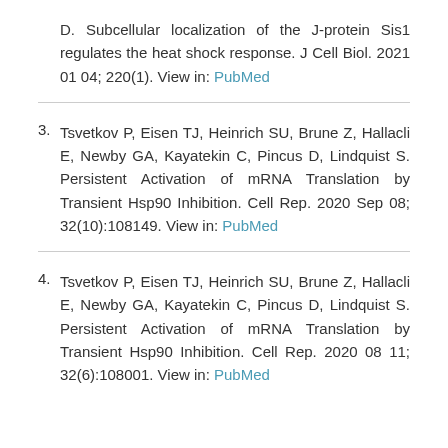D. Subcellular localization of the J-protein Sis1 regulates the heat shock response. J Cell Biol. 2021 01 04; 220(1). View in: PubMed
3. Tsvetkov P, Eisen TJ, Heinrich SU, Brune Z, Hallacli E, Newby GA, Kayatekin C, Pincus D, Lindquist S. Persistent Activation of mRNA Translation by Transient Hsp90 Inhibition. Cell Rep. 2020 Sep 08; 32(10):108149. View in: PubMed
4. Tsvetkov P, Eisen TJ, Heinrich SU, Brune Z, Hallacli E, Newby GA, Kayatekin C, Pincus D, Lindquist S. Persistent Activation of mRNA Translation by Transient Hsp90 Inhibition. Cell Rep. 2020 08 11; 32(6):108001. View in: PubMed